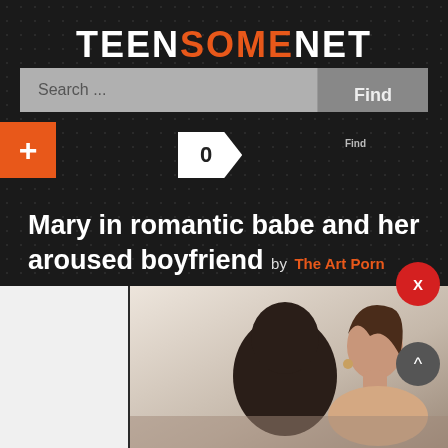TEENSOMENET
Search ...
Find
+
0
Mary in romantic babe and her aroused boyfriend by The Art Porn
[Figure (photo): Bottom portion showing two people, one with dark hair viewed from behind and a woman tilting her head back]
X
^